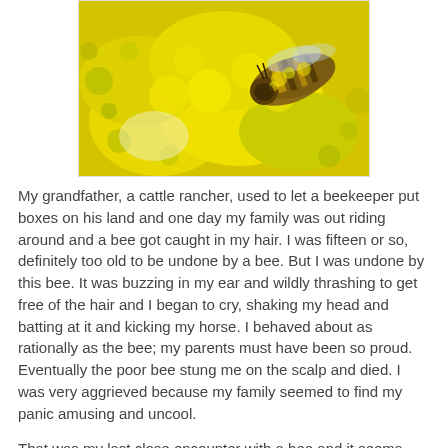[Figure (photo): Close-up macro photo of a bee covered in yellow pollen on a yellow flower]
My grandfather, a cattle rancher, used to let a beekeeper put boxes on his land and one day my family was out riding around and a bee got caught in my hair. I was fifteen or so, definitely too old to be undone by a bee. But I was undone by this bee. It was buzzing in my ear and wildly thrashing to get free of the hair and I began to cry, shaking my head and batting at it and kicking my horse. I behaved about as rationally as the bee; my parents must have been so proud. Eventually the poor bee stung me on the scalp and died. I was very aggrieved because my family seemed to find my panic amusing and uncool.
That was my last close encounter with a bee and it seems